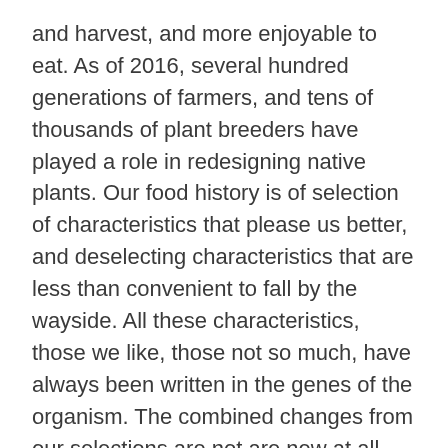and harvest, and more enjoyable to eat. As of 2016, several hundred generations of farmers, and tens of thousands of plant breeders have played a role in redesigning native plants. Our food history is of selection of characteristics that please us better, and deselecting characteristics that are less than convenient to fall by the wayside. All these characteristics, those we like, those not so much, have always been written in the genes of the organism. The combined changes from our selections are not are new at all.
Buying any bananas at the grocery store this week to top off your morning cereal? The wild ancestor of the banana grows in Malaysia and parts of Southeast Asia in a wild range of shapes, colors and sizes. Full of large, hard seeds and tough skins covering flesh that